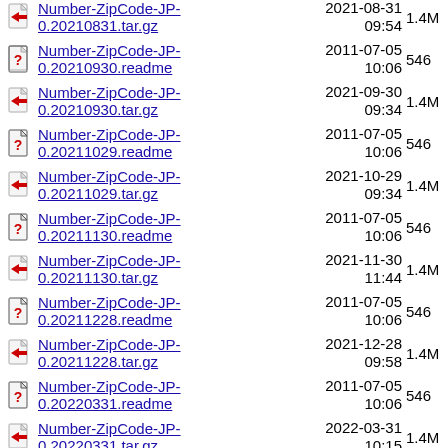Number-ZipCode-JP-0.20210831.tar.gz  2021-08-31 09:54  1.4M
Number-ZipCode-JP-0.20210930.readme  2011-07-05 10:06  546
Number-ZipCode-JP-0.20210930.tar.gz  2021-09-30 09:34  1.4M
Number-ZipCode-JP-0.20211029.readme  2011-07-05 10:06  546
Number-ZipCode-JP-0.20211029.tar.gz  2021-10-29 09:34  1.4M
Number-ZipCode-JP-0.20211130.readme  2011-07-05 10:06  546
Number-ZipCode-JP-0.20211130.tar.gz  2021-11-30 11:44  1.4M
Number-ZipCode-JP-0.20211228.readme  2011-07-05 10:06  546
Number-ZipCode-JP-0.20211228.tar.gz  2021-12-28 09:58  1.4M
Number-ZipCode-JP-0.20220331.readme  2011-07-05 10:06  546
Number-ZipCode-JP-0.20220331.tar.gz  2022-03-31 10:15  1.4M